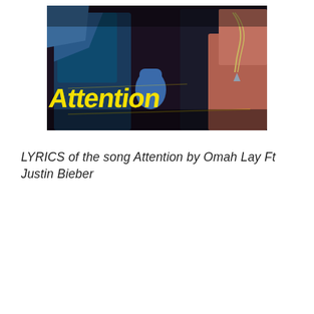[Figure (photo): Album art for 'Attention' by Omah Lay Ft Justin Bieber. Dark, vibrant image of two figures with neon yellow graffiti-style text reading 'Attention' overlaid. One figure wears a blue outfit, the other has a chain necklace. Background is dark with dramatic color lighting.]
LYRICS of the song Attention by Omah Lay Ft Justin Bieber